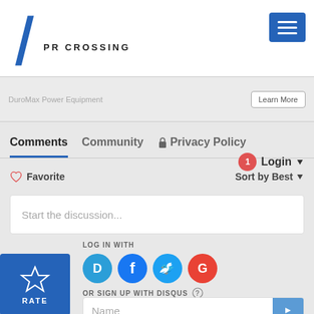PR CROSSING
DuroMax Power Equipment
Learn More
Comments  Community  🔒 Privacy Policy
Login ▾
♡ Favorite
Sort by Best ▾
Start the discussion...
LOG IN WITH
OR SIGN UP WITH DISQUS
Name